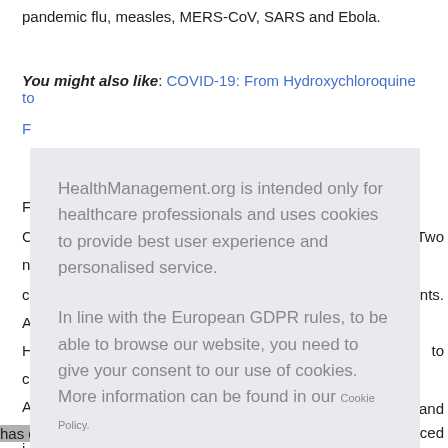pandemic flu, measles, MERS-CoV, SARS and Ebola.
You might also like: COVID-19: From Hydroxychloroquine to
F...
HealthManagement.org is intended only for healthcare professionals and uses cookies to provide best user experience and personalised service.

In line with the European GDPR rules, to be able to browse our website, you need to give your consent to our use of cookies. More information can be found in our Cookie Policy.
I am a healthcare professional and consent to the use of cookies
has compiled resources for people who would like to donate